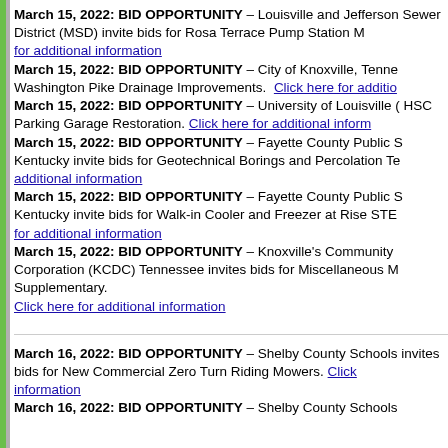March 15, 2022: BID OPPORTUNITY – Louisville and Jefferson Sewer District (MSD) invite bids for Rosa Terrace Pump Station … Click here for additional information
March 15, 2022: BID OPPORTUNITY – City of Knoxville, Tennessee … Washington Pike Drainage Improvements. Click here for additional information
March 15, 2022: BID OPPORTUNITY – University of Louisville … HSC Parking Garage Restoration. Click here for additional information
March 15, 2022: BID OPPORTUNITY – Fayette County Public S… Kentucky invite bids for Geotechnical Borings and Percolation Te… Click here for additional information
March 15, 2022: BID OPPORTUNITY – Fayette County Public S… Kentucky invite bids for Walk-in Cooler and Freezer at Rise STE… Click here for additional information
March 15, 2022: BID OPPORTUNITY – Knoxville's Community … Corporation (KCDC) Tennessee invites bids for Miscellaneous M… Supplementary. Click here for additional information
March 16, 2022: BID OPPORTUNITY – Shelby County Schools invites bids for New Commercial Zero Turn Riding Mowers. Click here for additional information
March 16, 2022: BID OPPORTUNITY – Shelby County Schools …